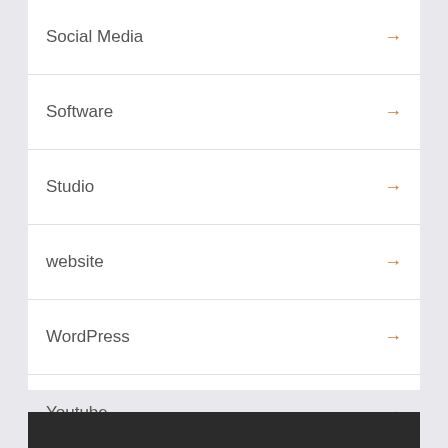Social Media →
Software →
Studio →
website →
WordPress →
Youtube →